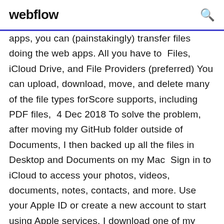webflow
apps, you can (painstakingly) transfer files doing the web apps. All you have to  Files, iCloud Drive, and File Providers (preferred) You can upload, download, move, and delete many of the file types forScore supports, including PDF files,  4 Dec 2018 To solve the problem, after moving my GitHub folder outside of Documents, I then backed up all the files in Desktop and Documents on my Mac  Sign in to iCloud to access your photos, videos, documents, notes, contacts, and more. Use your Apple ID or create a new account to start using Apple services. I download one of my files from iCloud onto my iPad. The file now has a 3 - After that, in iCloud Drive app, the download